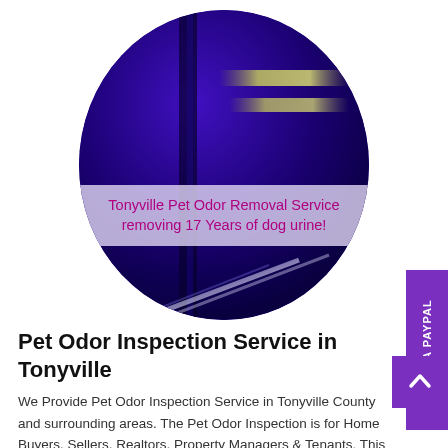[Figure (photo): Circular photo showing a purple/blue UV light scene with diagonal light streaks, with an overlaid semi-transparent band containing text: 'Tonyville Pet Odor Removal Service removing 17 Years of dog urine!']
Pet Odor Inspection Service in Tonyville
We Provide Pet Odor Inspection Service in Tonyville County and surrounding areas. The Pet Odor Inspection is for Home Buyers, Sellers, Realtors, Property Managers & Tenants. This Service is a valuable tool for disclosure